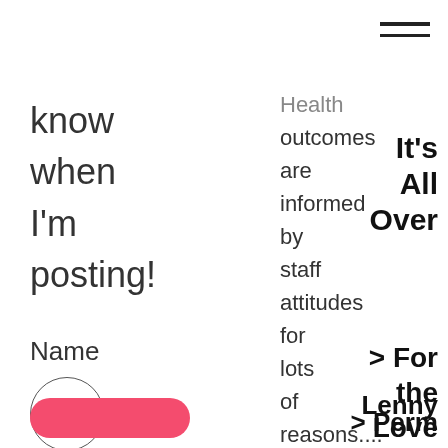know when I'm posting!
Name
[Figure (other): Circle input field for Name]
Email*
[Figure (other): Circle input field for Email]
[Figure (other): Pink rounded button]
Health outcomes are informed by staff attitudes for lots of reasons.... twitter.com/i/web/status 2 weeks ago
[Figure (other): Hamburger menu icon (three horizontal lines)]
It's All Over
> For the Love of
Lenny
> Perm